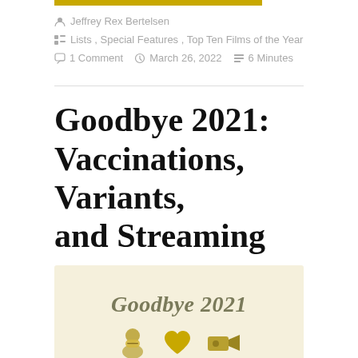Jeffrey Rex Bertelsen
Lists , Special Features , Top Ten Films of the Year
1 Comment   March 26, 2022   6 Minutes
Goodbye 2021: Vaccinations, Variants, and Streaming
[Figure (illustration): Goodbye 2021 illustrated banner with golden text reading 'Goodbye 2021' and three icons below: a person with a face mask, a golden heart, and a film camera, all on a cream/beige background.]